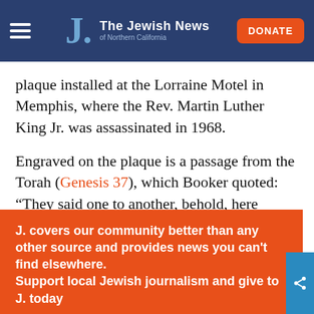The Jewish News of Northern California | DONATE
plaque installed at the Lorraine Motel in Memphis, where the Rev. Martin Luther King Jr. was assassinated in 1968.
Engraved on the plaque is a passage from the Torah (Genesis 37), which Booker quoted: “They said one to another, behold, here cometh the dreamer… Let us slay him… and we shall see what will become of his dreams.”
J. covers our community better than any other source and provides news you can’t find elsewhere. Support local Jewish journalism and give to J. today